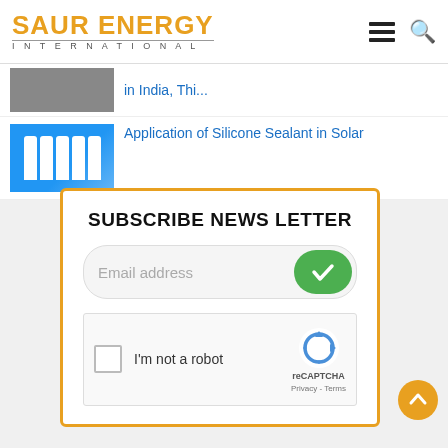SAUR ENERGY INTERNATIONAL
in India, Thi...
[Figure (photo): Blue bottles/silicone sealant containers]
Application of Silicone Sealant in Solar
SUBSCRIBE NEWS LETTER
Email address
I'm not a robot reCAPTCHA Privacy - Terms
[Figure (bar-chart): Bar chart thumbnail for South India renewable energy article]
South India's Second Big Renewable Push Starts Now
[Figure (photo): Solis ESS product launch at Intersolar Europe]
Solis To Launch Three Smart ESS At Intersolar Europe